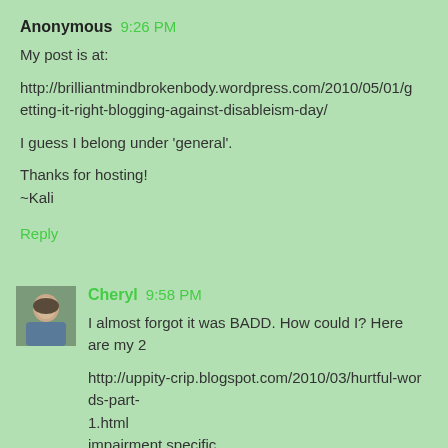Anonymous 9:26 PM
My post is at:
http://brilliantmindbrokenbody.wordpress.com/2010/05/01/getting-it-right-blogging-against-disableism-day/
I guess I belong under 'general'.
Thanks for hosting!
~Kali
Reply
Cheryl 9:58 PM
I almost forgot it was BADD. How could I? Here are my 2
http://uppity-crip.blogspot.com/2010/03/hurtful-words-part-1.html
impairment specific